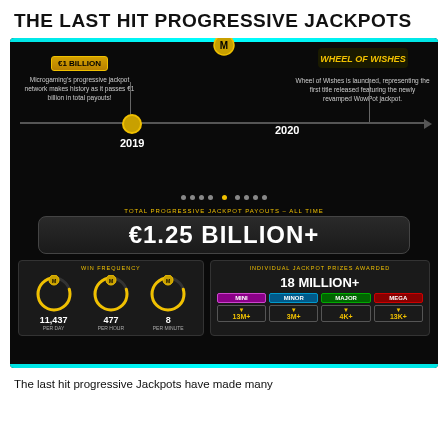THE LAST HIT PROGRESSIVE JACKPOTS
[Figure (infographic): Infographic showing Microgaming progressive jackpot milestones on a timeline (2019 €1 Billion payout milestone, 2020 Wheel of Wishes launch), total progressive jackpot payouts all time €1.25 BILLION+, win frequency stats (11,437 per day, 477 per hour, 8 per minute), and individual jackpot prizes awarded 18 MILLION+ broken down by Mini 13M+, Minor 3M+, Major 4K+, Mega 13K+]
The last hit progressive Jackpots have made many